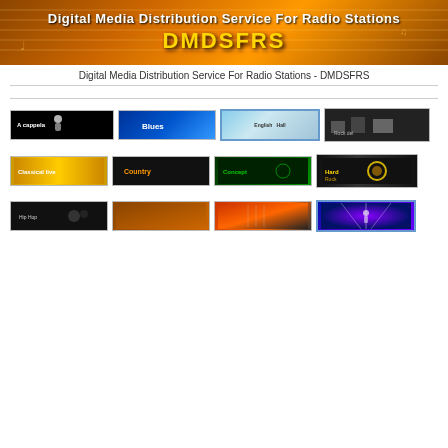[Figure (illustration): DMDSFRS banner with orange/gold music-themed background, text 'Digital Media Distribution Service For Radio Stations' and 'DMDSFRS' in gold letters]
Digital Media Distribution Service For Radio Stations - DMDSFRS
[Figure (photo): Grid of 12 thumbnail images representing music genre categories: A cappella, Blues, Classical, Rock, Classical live, Country, Concept, Hard Rock, Hip Hop, Country2, Guitar, Concert]
[Figure (photo): A cappella thumbnail - black background with white text and figure]
[Figure (photo): Blues thumbnail - blue gradient]
[Figure (photo): Classical thumbnail - building/architecture image]
[Figure (photo): Rock thumbnail - dark silhouettes]
[Figure (photo): Classical Live thumbnail - golden crowd]
[Figure (photo): Country thumbnail - dark with orange text]
[Figure (photo): Concept thumbnail - green on dark]
[Figure (photo): Hard Rock thumbnail - dark gold]
[Figure (photo): Hip Hop thumbnail - dark]
[Figure (photo): Country 2 thumbnail - warm brown tones]
[Figure (photo): Guitar thumbnail - red/orange]
[Figure (photo): Concert thumbnail - blue/purple stage lighting]